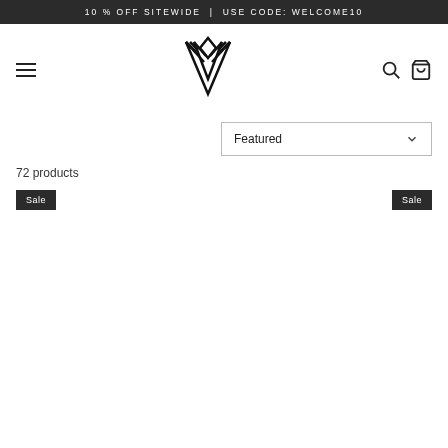10% OFF SITEWIDE | USE CODE: WELCOME10
[Figure (logo): Geometric V-shaped logo in black lines on white background]
72 products
Sale
Sale